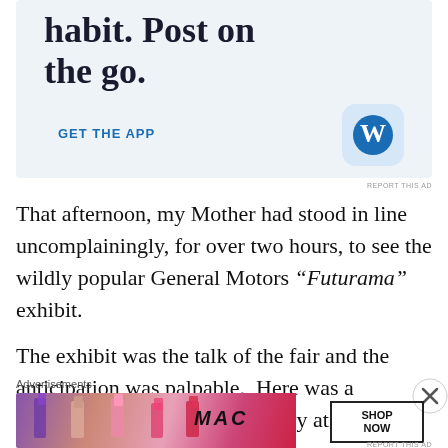[Figure (screenshot): WordPress app advertisement with light blue background showing partial text 'habit. Post on the go.' and 'GET THE APP' link with WordPress W logo icon]
REPORT THIS AD
That afternoon, my Mother had stood in line uncomplainingly, for over two hours, to see the wildly popular General Motors “Futurama” exhibit.
The exhibit was the talk of the fair and the anticipation was palpable.  Here was a preview of tomorrow…a country at
Advertisements
[Figure (screenshot): MAC cosmetics advertisement showing lipsticks and 'SHOP NOW' button]